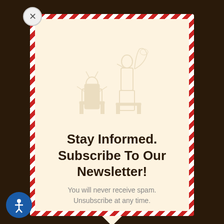[Figure (illustration): A newsletter subscription modal popup with a red and white diagonal striped border (envelope style), cream/beige background, a faded watermark illustration of musicians/performers in the background, bold title text, and a subtitle.]
Stay Informed. Subscribe To Our Newsletter!
You will never receive spam. Unsubscribe at any time.